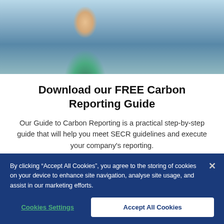[Figure (photo): Person in teal/green jacket holding a tablet/clipboard in an industrial or warehouse setting]
Download our FREE Carbon Reporting Guide
Our Guide to Carbon Reporting is a practical step-by-step guide that will help you meet SECR guidelines and execute your company's reporting.
Download guide
By clicking “Accept All Cookies”, you agree to the storing of cookies on your device to enhance site navigation, analyse site usage, and assist in our marketing efforts.
Cookies Settings
Accept All Cookies